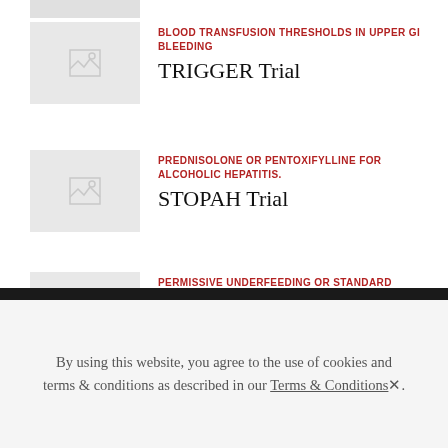[Figure (photo): Placeholder image thumbnail (grey box with image icon) for TRIGGER Trial article]
BLOOD TRANSFUSION THRESHOLDS IN UPPER GI BLEEDING
TRIGGER Trial
[Figure (photo): Placeholder image thumbnail (grey box with image icon) for STOPAH Trial article]
PREDNISOLONE OR PENTOXIFYLLINE FOR ALCOHOLIC HEPATITIS.
STOPAH Trial
[Figure (photo): Placeholder image thumbnail (grey box with image icon) for PERMIT Trial article]
PERMISSIVE UNDERFEEDING OR STANDARD FEEDING
PERMIT Trial
By using this website, you agree to the use of cookies and terms & conditions as described in our Terms & Conditions.